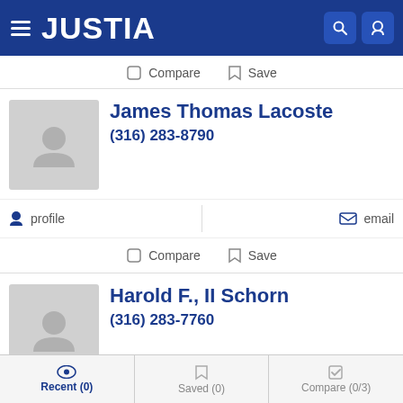JUSTIA
Compare   Save
James Thomas Lacoste
(316) 283-8790
profile   email
Compare   Save
Harold F., II Schorn
(316) 283-7760
profile
Recent (0)   Saved (0)   Compare (0/3)